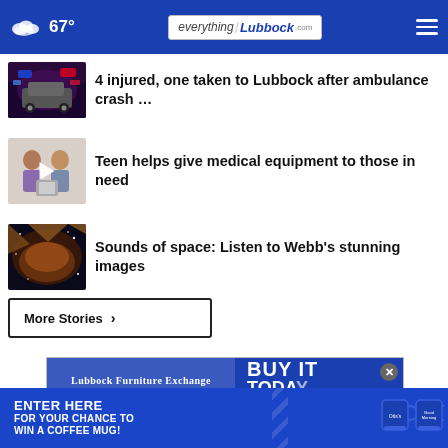67° everything/Lubbock.com
4 injured, one taken to Lubbock after ambulance crash …
Teen helps give medical equipment to those in need
Sounds of space: Listen to Webb's stunning images
More Stories  ›
[Figure (screenshot): Advertisement: Lubbock Furniture Exchange & Mattresses Too / BUY IT TODAY GET IT with close button]
[Figure (screenshot): Advertisement banner: ENTER HERE FOR YOUR CHANCE TO WIN A COFFEE MUG! with blue coffee mugs on right]